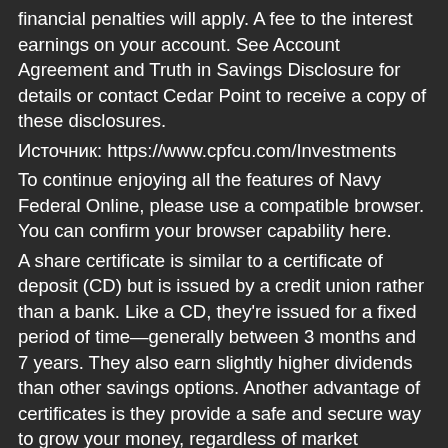financial penalties will apply. A fee to the interest earnings on your account. See Account Agreement and Truth in Savings Disclosure for details or contact Cedar Point to receive a copy of these disclosures.
Источник: https://www.cpfcu.com/Investments
To continue enjoying all the features of Navy Federal Online, please use a compatible browser. You can confirm your browser capability here.
A share certificate is similar to a certificate of deposit (CD) but is issued by a credit union rather than a bank. Like a CD, they're issued for a fixed period of time—generally between 3 months and 7 years. They also earn slightly higher dividends than other savings options. Another advantage of certificates is they provide a safe and secure way to grow your money, regardless of market fluctuations.